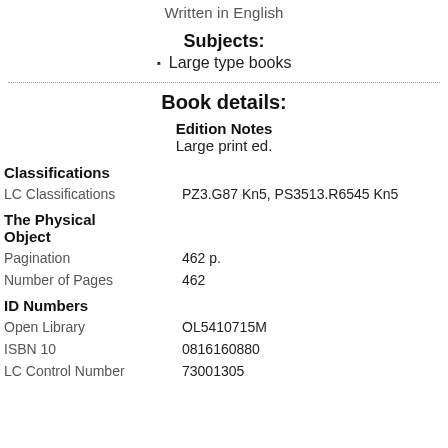Written in English
Subjects:
Large type books
Book details:
Edition Notes
Large print ed.
Classifications
LC Classifications: PZ3.G87 Kn5, PS3513.R6545 Kn5
The Physical Object
Pagination: 462 p.
Number of Pages: 462
ID Numbers
Open Library: OL5410715M
ISBN 10: 0816160880
LC Control Number: 73001305